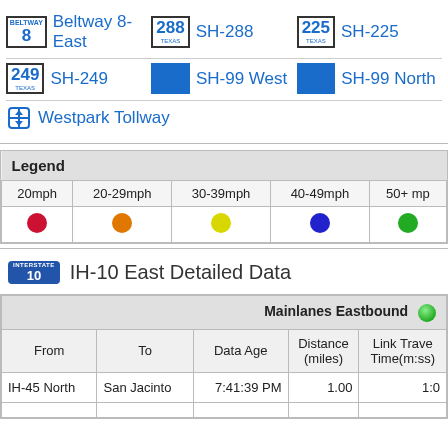Beltway 8-East
SH-288
SH-225
SH-249
SH-99 West
SH-99 North
Westpark Tollway
| Legend |  |  |  |  |
| --- | --- | --- | --- | --- |
| 20mph | 20-29mph | 30-39mph | 40-49mph | 50+ mp |
| red dot | orange dot | yellow dot | blue dot | green dot |
IH-10 East Detailed Data
| From | To | Data Age | Distance (miles) | Link Travel Time(m:ss) |
| --- | --- | --- | --- | --- |
| IH-45 North | San Jacinto | 7:41:39 PM | 1.00 | 1:0 |